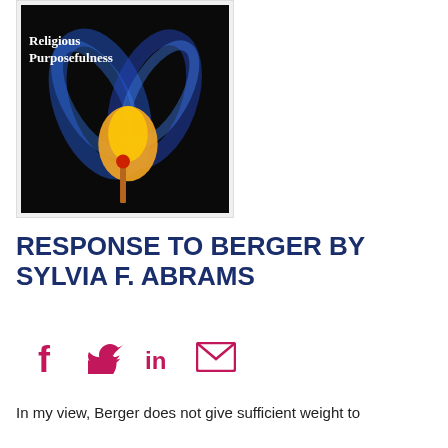[Figure (illustration): Book cover for 'Religious Purposefulness' showing a lit match with blue and orange flame against a dark background, with a journal logo and Hebrew text at the top on an orange bar.]
RESPONSE TO BERGER BY SYLVIA F. ABRAMS
[Figure (infographic): Social media share icons: Facebook (f), Twitter (bird), LinkedIn (in), Email (envelope) — all in magenta/pink color.]
In my view, Berger does not give sufficient weight to